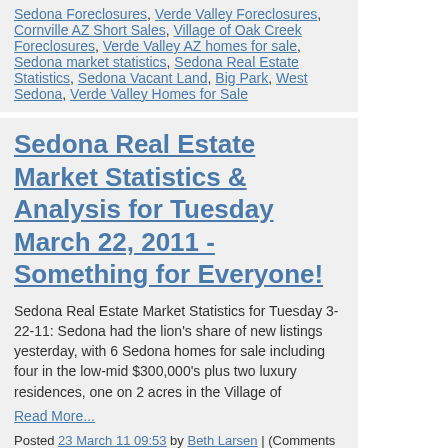Sedona Foreclosures, Verde Valley Foreclosures, Cornville AZ Short Sales, Village of Oak Creek Foreclosures, Verde Valley AZ homes for sale, Sedona market statistics, Sedona Real Estate Statistics, Sedona Vacant Land, Big Park, West Sedona, Verde Valley Homes for Sale
Sedona Real Estate Market Statistics & Analysis for Tuesday March 22, 2011 - Something for Everyone!
Sedona Real Estate Market Statistics for Tuesday 3-22-11: Sedona had the lion's share of new listings yesterday, with 6 Sedona homes for sale including four in the low-mid $300,000's plus two luxury residences, one on 2 acres in the Village of
Read More...
Posted 23 March 11 09:53 by Beth Larsen | (Comments Off)
Filed under Market Conditions, Sedona Real Estate, AZ Real Estate, Cottonwood AZ, Camp Verde AZ, Sedona homes for sale, Verde Valley Foreclosures, Village of Oak Creek Foreclosures, Verde Valley AZ homes for sale, Sedona market statistics, Sedona Real Estate Statistics, Sedona Vacant Land, Sedona Verde Valley MLS, Verde Valley properties, Big Park